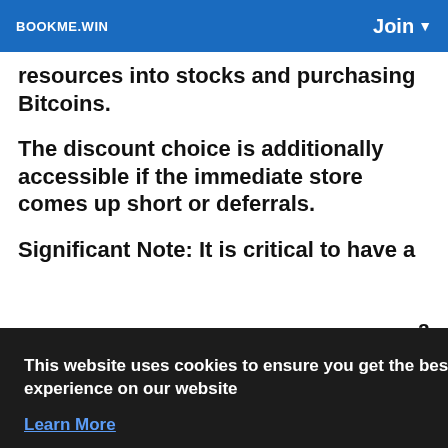BOOKME.WIN   Join
resources into stocks and purchasing Bitcoins.
The discount choice is additionally accessible if the immediate store comes up short or deferrals.
Significant Note: It is critical to have a
This website uses cookies to ensure you get the best experience on our website Learn More
Got It!
Now and then to finish an immediate store,